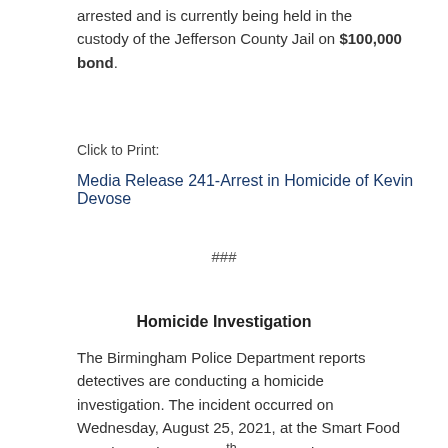arrested and is currently being held in the custody of the Jefferson County Jail on $100,000 bond.
Click to Print:
Media Release 241-Arrest in Homicide of Kevin Devose
###
Homicide Investigation
The Birmingham Police Department reports detectives are conducting a homicide investigation. The incident occurred on Wednesday, August 25, 2021, at the Smart Food Mart located at 900 20th Street Ensley.